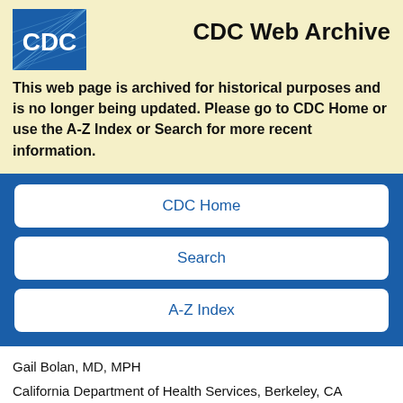[Figure (logo): CDC logo - blue square with white CDC text and stylized globe/lines design]
CDC Web Archive
This web page is archived for historical purposes and is no longer being updated. Please go to CDC Home or use the A-Z Index or Search for more recent information.
CDC Home
Search
A-Z Index
Gail Bolan, MD, MPH
California Department of Health Services, Berkeley, CA
Peter A. Leone, MD, MPH